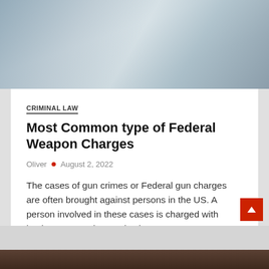[Figure (photo): Blurred photo of person at desk with documents, shot from above, muted blue-grey tones]
CRIMINAL LAW
Most Common type of Federal Weapon Charges
Oliver • August 2, 2022
The cases of gun crimes or Federal gun charges are often brought against persons in the US. A person involved in these cases is charged with buying, possessing, and using
... READ MORE
Comment